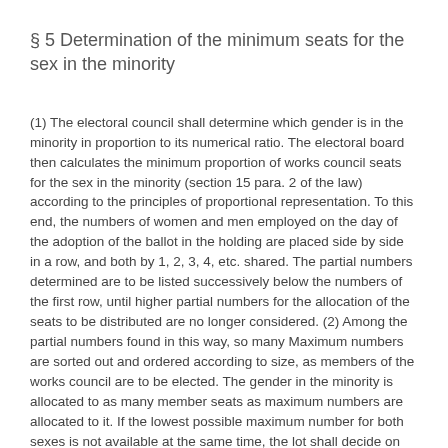§ 5 Determination of the minimum seats for the sex in the minority
(1) The electoral council shall determine which gender is in the minority in proportion to its numerical ratio. The electoral board then calculates the minimum proportion of works council seats for the sex in the minority (section 15 para. 2 of the law) according to the principles of proportional representation. To this end, the numbers of women and men employed on the day of the adoption of the ballot in the holding are placed side by side in a row, and both by 1, 2, 3, 4, etc. shared. The partial numbers determined are to be listed successively below the numbers of the first row, until higher partial numbers for the allocation of the seats to be distributed are no longer considered. (2) Among the partial numbers found in this way, so many Maximum numbers are sorted out and ordered according to size, as members of the works council are to be elected. The gender in the minority is allocated to as many member seats as maximum numbers are allocated to it. If the lowest possible maximum number for both sexes is not available at the same time, the lot shall decide on the sex of that seat.